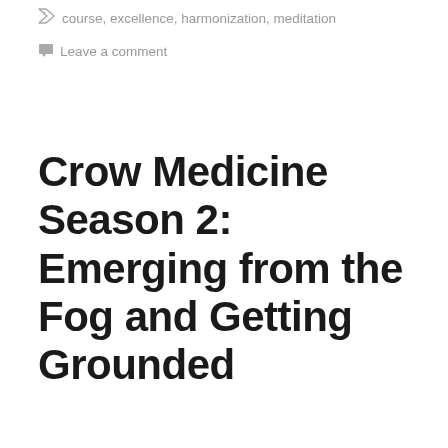course, excellence, harmonization, meditation
Leave a comment
Crow Medicine Season 2: Emerging from the Fog and Getting Grounded